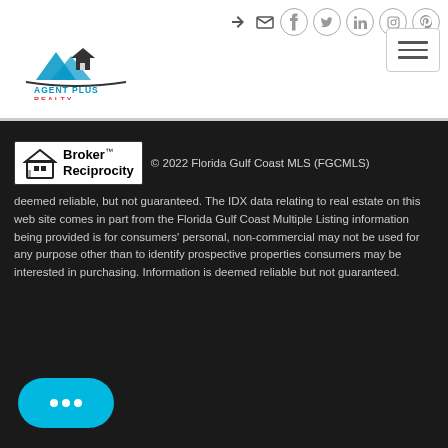[Figure (logo): Agent Plus Realty logo with house/mountain SVG icon and text]
[Figure (logo): Broker Reciprocity badge with house icon]
© 2022 Florida Gulf Coast MLS (FGCMLS) deemed reliable, but not guaranteed. The IDX data relating to real estate on this web site comes in part from the Florida Gulf Coast Multiple Listing information being provided is for consumers' personal, non-commercial may not be used for any purpose other than to identify prospective p consumers may be interested in purchasing. Information is deemed guaranteed.
[Figure (other): Cyan chat button with three dots speech bubble icon]